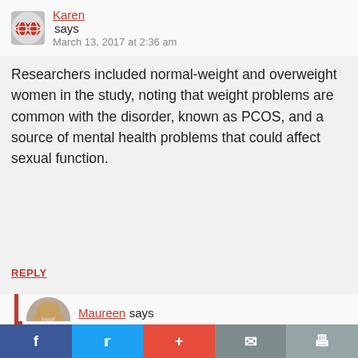Karen says
March 13, 2017 at 2:36 am
Researchers included normal-weight and overweight women in the study, noting that weight problems are common with the disorder, known as PCOS, and a source of mental health problems that could affect sexual function.
REPLY
Maureen says
May 31, 2017 at 6:29 pm
Karen, I think you commented to the wrong article. Perhaps you would like to